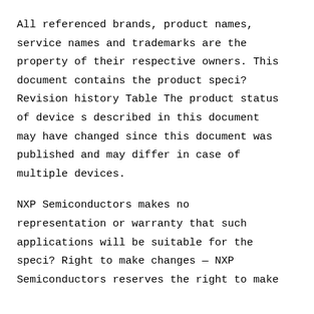All referenced brands, product names, service names and trademarks are the property of their respective owners. This document contains the product speci? Revision history Table The product status of device s described in this document may have changed since this document was published and may differ in case of multiple devices.
NXP Semiconductors makes no representation or warranty that such applications will be suitable for the speci? Right to make changes — NXP Semiconductors reserves the right to make